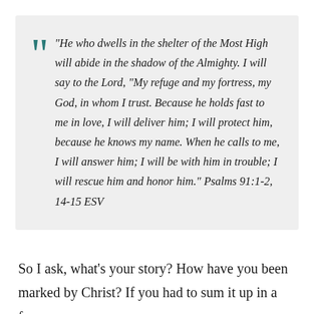“He who dwells in the shelter of the Most High will abide in the shadow of the Almighty. I will say to the Lord, “My refuge and my fortress, my God, in whom I trust. Because he holds fast to me in love, I will deliver him; I will protect him, because he knows my name. When he calls to me, I will answer him; I will be with him in trouble; I will rescue him and honor him.” Psalms 91:1-2, 14-15 ESV
So I ask, what’s your story? How have you been marked by Christ? If you had to sum it up in a few